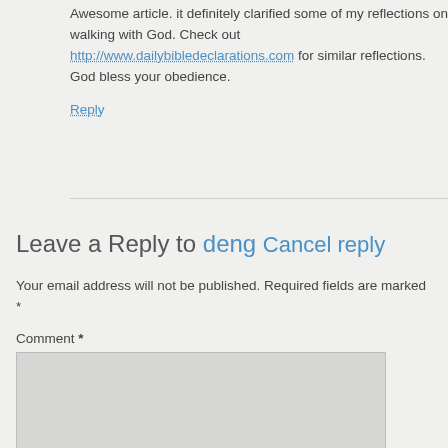Awesome article. it definitely clarified some of my reflections on walking with God. Check out http://www.dailybibledeclarations.com for similar reflections. God bless your obedience.
Reply
Leave a Reply to deng Cancel reply
Your email address will not be published. Required fields are marked *
Comment *